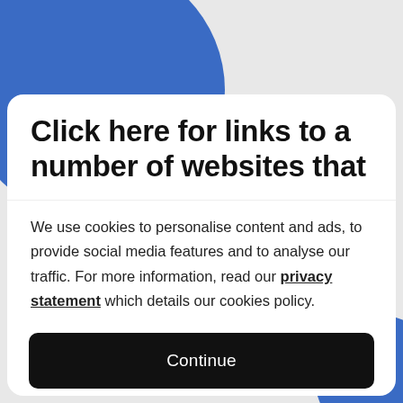[Figure (illustration): Blue circle logo/icon partially visible in the upper-left area, overlapping with the white card. A smaller blue circle is partially visible at the bottom-right.]
Click here for links to a number of websites that
We use cookies to personalise content and ads, to provide social media features and to analyse our traffic. For more information, read our privacy statement which details our cookies policy.
Continue